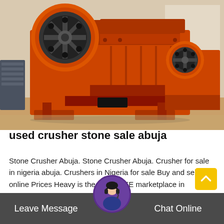[Figure (photo): Large orange industrial jaw crusher / stone crusher machine in a warehouse or factory setting. A second smaller crusher is visible in the background to the right.]
used crusher stone sale abuja
Stone Crusher Abuja. Stone Crusher Abuja. Crusher for sale in nigeria abuja. Crushers in Nigeria for sale Buy and sell online Prices Heavy is the best FREE marketplace in Nigeria…
Relase Time : 03-09